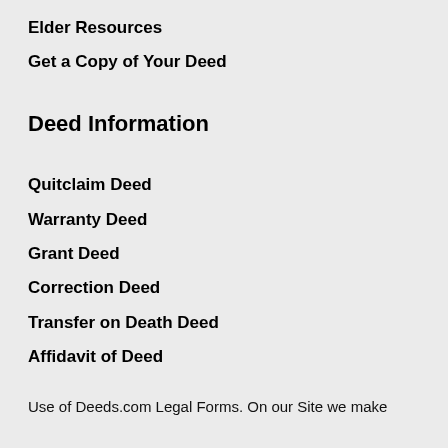Elder Resources
Get a Copy of Your Deed
Deed Information
Quitclaim Deed
Warranty Deed
Grant Deed
Correction Deed
Transfer on Death Deed
Affidavit of Deed
Use of Deeds.com Legal Forms. On our Site we make